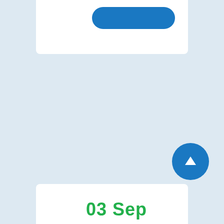[Figure (screenshot): Top white card panel with a blue rounded button visible at the top of the page]
[Figure (screenshot): Blue circular FAB (floating action button) with a white upward arrow icon, positioned bottom-right]
[Figure (screenshot): Bottom white card panel with green bold text '03 Sep' partially visible at the bottom of the page]